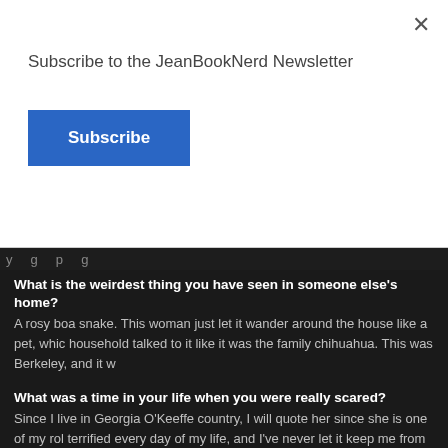×
Subscribe to the JeanBookNerd Newsletter
Subscribe
...y ...g ...p ...g ...
What is the weirdest thing you have seen in someone else's home?
A rosy boa snake. This woman just let it wander around the house like a pet, whic household talked to it like it was the family chihuahua. This was Berkeley, and it w
What was a time in your life when you were really scared?
Since I live in Georgia O'Keeffe country, I will quote her since she is one of my rol terrified every day of my life, and I've never let it keep me from doing a single thin been scared every day, but, you don't reach my age without having many terrifying never let it stop me from doing anything. Well, one thing: I hope to never fly Cuba that!
What is your most memorable travel experience?
My husband is a theoretical astrophysicist, and when he worked at the Ecole Norr had the opportunity to live there. The whole thing was memorable, from lining up a French mothers to pick up my daughter at school, to finding myself sitting at the C